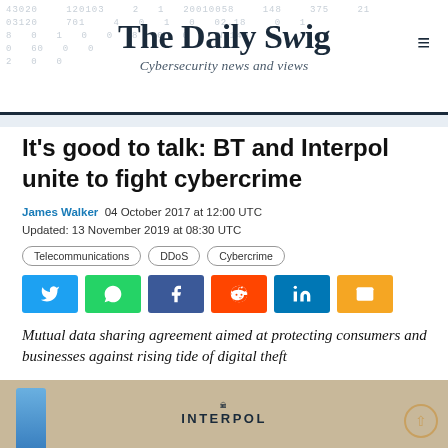The Daily Swig — Cybersecurity news and views
It's good to talk: BT and Interpol unite to fight cybercrime
James Walker 04 October 2017 at 12:00 UTC
Updated: 13 November 2019 at 08:30 UTC
Telecommunications
DDoS
Cybercrime
Mutual data sharing agreement aimed at protecting consumers and businesses against rising tide of digital theft
[Figure (photo): Interpol logo and signage visible at a podium or event backdrop]